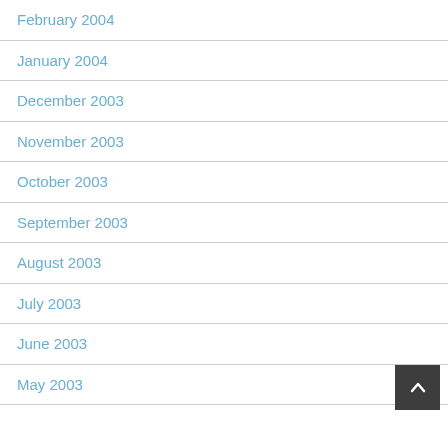February 2004
January 2004
December 2003
November 2003
October 2003
September 2003
August 2003
July 2003
June 2003
May 2003